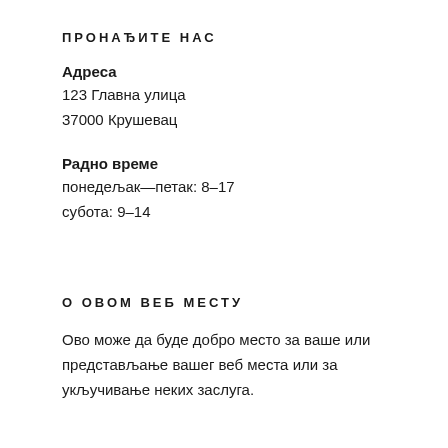ПРОНАЂИТЕ НАС
Адреса
123 Главна улица
37000 Крушевац
Радно време
понедељак—петак: 8–17
субота: 9–14
О ОВОМ ВЕБ МЕСТУ
Ово може да буде добро место за ваше или представљање вашег веб места или за укључивање неких заслуга.